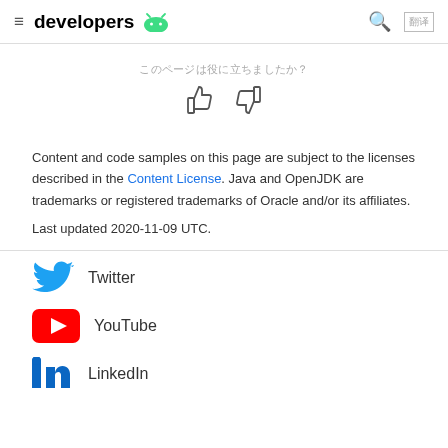developers [Android logo]
[Figure (other): Thumbs up and thumbs down feedback icons with Japanese/Chinese text label above]
Content and code samples on this page are subject to the licenses described in the Content License. Java and OpenJDK are trademarks or registered trademarks of Oracle and/or its affiliates.
Last updated 2020-11-09 UTC.
[Figure (logo): Twitter bird logo (blue)]
Twitter
[Figure (logo): YouTube play button logo (red)]
YouTube
[Figure (logo): LinkedIn logo (blue)]
LinkedIn